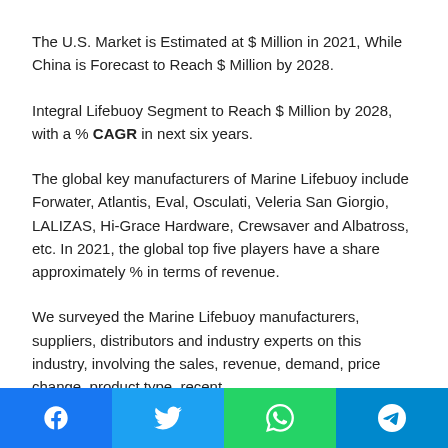The U.S. Market is Estimated at $ Million in 2021, While China is Forecast to Reach $ Million by 2028.
Integral Lifebuoy Segment to Reach $ Million by 2028, with a % CAGR in next six years.
The global key manufacturers of Marine Lifebuoy include Forwater, Atlantis, Eval, Osculati, Veleria San Giorgio, LALIZAS, Hi-Grace Hardware, Crewsaver and Albatross, etc. In 2021, the global top five players have a share approximately % in terms of revenue.
We surveyed the Marine Lifebuoy manufacturers, suppliers, distributors and industry experts on this industry, involving the sales, revenue, demand, price change, product type, recent